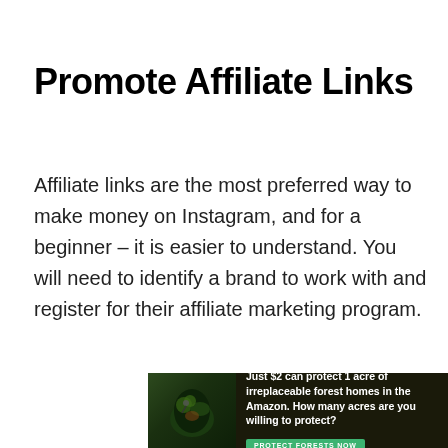Promote Affiliate Links
Affiliate links are the most preferred way to make money on Instagram, and for a beginner – it is easier to understand. You will need to identify a brand to work with and register for their affiliate marketing program.
[Figure (other): Advertisement banner: forest/Amazon conservation ad with bird image. Text: 'Just $2 can protect 1 acre of irreplaceable forest homes in the Amazon. How many acres are you willing to protect?' with a green 'PROTECT FORESTS NOW' button.]